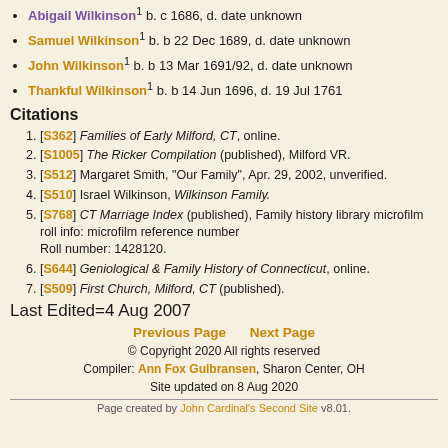Abigail Wilkinson¹ b. c 1686, d. date unknown
Samuel Wilkinson¹ b. b 22 Dec 1689, d. date unknown
John Wilkinson¹ b. b 13 Mar 1691/92, d. date unknown
Thankful Wilkinson¹ b. b 14 Jun 1696, d. 19 Jul 1761
Citations
[S362] Families of Early Milford, CT, online.
[S1005] The Ricker Compilation (published), Milford VR.
[S512] Margaret Smith, "Our Family", Apr. 29, 2002, unverified.
[S510] Israel Wilkinson, Wilkinson Family.
[S768] CT Marriage Index (published), Family history library microfilm roll info: microfilm reference number Roll number: 1428120.
[S644] Geniological & Family History of Connecticut, online.
[S509] First Church, Milford, CT (published).
Last Edited=4 Aug 2007
Previous Page   Next Page
© Copyright 2020 All rights reserved
Compiler: Ann Fox Gulbransen, Sharon Center, OH
Site updated on 8 Aug 2020
Page created by John Cardinal's Second Site v8.01.